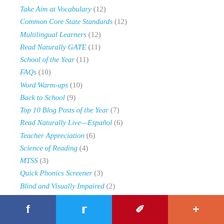Take Aim at Vocabulary (12)
Common Core State Standards (12)
Multilingual Learners (12)
Read Naturally GATE (11)
School of the Year (11)
FAQs (10)
Word Warm-ups (10)
Back to School (9)
Top 10 Blog Posts of the Year (7)
Read Naturally Live—Español (6)
Teacher Appreciation (6)
Science of Reading (4)
MTSS (3)
Quick Phonics Screener (3)
Blind and Visually Impaired (2)
Reading Wars (2)
Classroom Management (1)
Subvocalization (1)
Teacher Modeling (1)